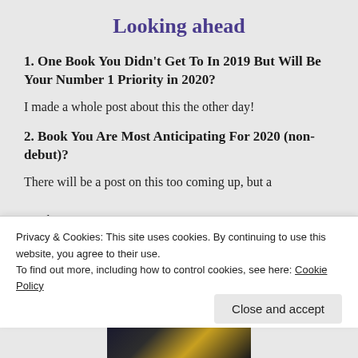Looking ahead
1. One Book You Didn't Get To In 2019 But Will Be Your Number 1 Priority in 2020?
I made a whole post about this the other day!
2. Book You Are Most Anticipating For 2020 (non-debut)?
There will be a post on this too coming up, but a sneak preview:
Privacy & Cookies: This site uses cookies. By continuing to use this website, you agree to their use.
To find out more, including how to control cookies, see here: Cookie Policy
Close and accept